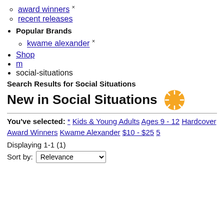award winners ×
recent releases
Popular Brands
kwame alexander ×
Shop
m
social-situations
Search Results for Social Situations
New in Social Situations
You've selected: * Kids & Young Adults Ages 9 - 12 Hardcover Award Winners Kwame Alexander $10 - $25 5
Displaying 1-1 (1)
Sort by: Relevance